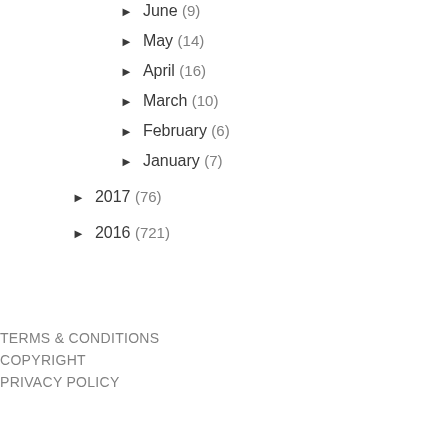June (9)
May (14)
April (16)
March (10)
February (6)
January (7)
2017 (76)
2016 (721)
TERMS & CONDITIONS
COPYRIGHT
PRIVACY POLICY